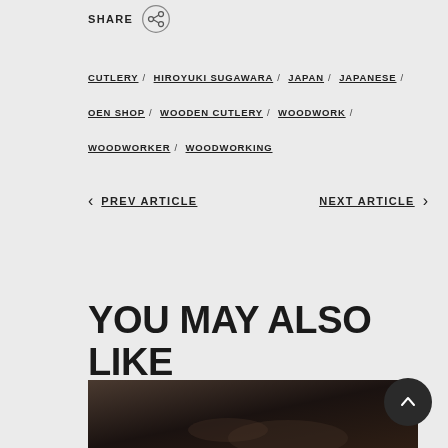SHARE
CUTLERY / HIROYUKI SUGAWARA / JAPAN / JAPANESE / OEN SHOP / WOODEN CUTLERY / WOODWORK / WOODWORKER / WOODWORKING
< PREV ARTICLE    NEXT ARTICLE >
YOU MAY ALSO LIKE
[Figure (photo): Dark/moody photo thumbnail at the bottom of the page]